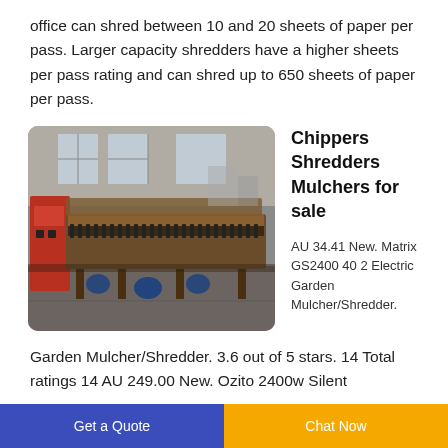office can shred between 10 and 20 sheets of paper per pass. Larger capacity shredders have a higher sheets per pass rating and can shred up to 650 sheets of paper per pass.
[Figure (photo): Industrial chippers/shredders/mulchers machinery on a factory floor, showing large conveyor-style shredder tables with rollers in an industrial warehouse setting.]
Chippers Shredders Mulchers for sale
AU 34.41 New. Matrix GS2400 40 2 Electric Garden Mulcher/Shredder. 3.6 out of 5 stars. 14 Total ratings 14 AU 249.00 New. Ozito 2400w Silent
Get a Quote
Chat Now